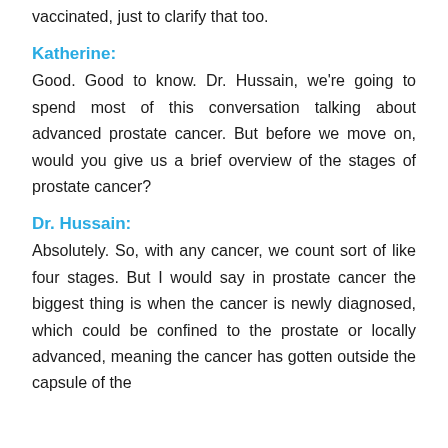vaccinated, just to clarify that too.
Katherine:
Good. Good to know. Dr. Hussain, we're going to spend most of this conversation talking about advanced prostate cancer. But before we move on, would you give us a brief overview of the stages of prostate cancer?
Dr. Hussain:
Absolutely. So, with any cancer, we count sort of like four stages. But I would say in prostate cancer the biggest thing is when the cancer is newly diagnosed, which could be confined to the prostate or locally advanced, meaning the cancer has gotten outside the capsule of the